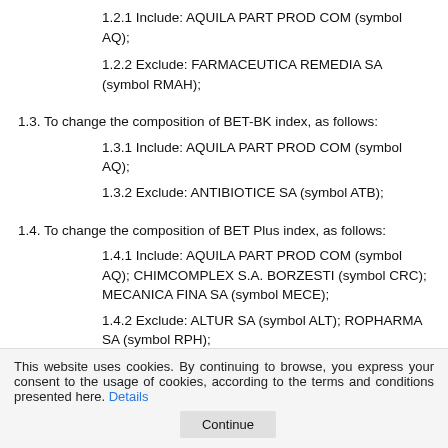1.2.1 Include: AQUILA PART PROD COM (symbol AQ);
1.2.2 Exclude: FARMACEUTICA REMEDIA SA (symbol RMAH);
1.3. To change the composition of BET-BK index, as follows:
1.3.1 Include: AQUILA PART PROD COM (symbol AQ);
1.3.2 Exclude: ANTIBIOTICE SA (symbol ATB);
1.4. To change the composition of BET Plus index, as follows:
1.4.1 Include: AQUILA PART PROD COM (symbol AQ); CHIMCOMPLEX S.A. BORZESTI (symbol CRC); MECANICA FINA SA (symbol MECE);
1.4.2 Exclude: ALTUR SA (symbol ALT); ROPHARMA SA (symbol RPH);
1.5. To keep unchanged the composition of BET-NG and BET-FI
This website uses cookies. By continuing to browse, you express your consent to the usage of cookies, according to the terms and conditions presented here. Details Continue